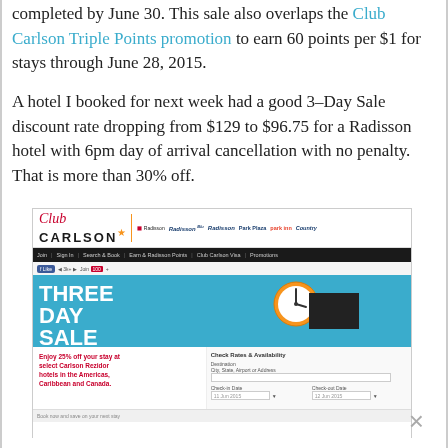completed by June 30. This sale also overlaps the Club Carlson Triple Points promotion to earn 60 points per $1 for stays through June 28, 2015.
A hotel I booked for next week had a good 3–Day Sale discount rate dropping from $129 to $96.75 for a Radisson hotel with 6pm day of arrival cancellation with no penalty. That is more than 30% off.
[Figure (screenshot): Screenshot of the Club Carlson website showing a Three Day Sale promotion banner with a clock graphic. The page includes the Club Carlson logo with partner hotel brand logos (Radisson, Park Inn, Country), a dark navigation bar, and a teal banner reading 'THREE DAY SALE'. Below the banner is a section offering '25% off your stay at select Carlson Rezidor hotels in the Americas, Caribbean and Canada.' with a hotel search form on the right showing check-in date 11 Jun 2015 and check-out date 12 Jun 2015.]